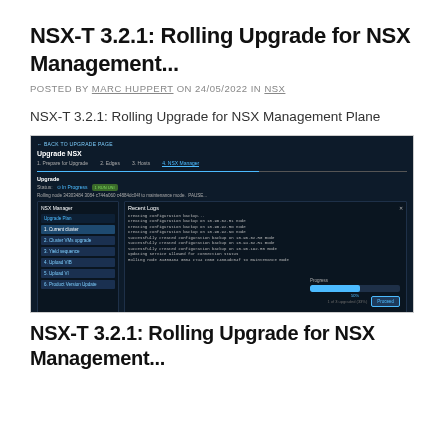NSX-T 3.2.1: Rolling Upgrade for NSX Management...
POSTED BY MARC HUPPERT ON 24/05/2022 IN NSX
NSX-T 3.2.1: Rolling Upgrade for NSX Management Plane
[Figure (screenshot): Screenshot of NSX-T upgrade interface showing the NSX Manager rolling upgrade in progress with recent logs panel, progress bar, and Proceed button]
NSX-T 3.2.1: Rolling Upgrade for NSX Management...